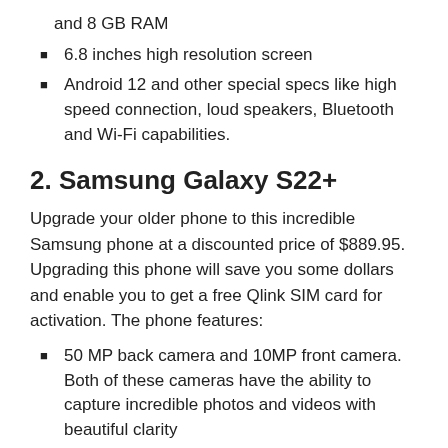and 8 GB RAM
6.8 inches high resolution screen
Android 12 and other special specs like high speed connection, loud speakers, Bluetooth and Wi-Fi capabilities.
2. Samsung Galaxy S22+
Upgrade your older phone to this incredible Samsung phone at a discounted price of $889.95. Upgrading this phone will save you some dollars and enable you to get a free Qlink SIM card for activation. The phone features:
50 MP back camera and 10MP front camera. Both of these cameras have the ability to capture incredible photos and videos with beautiful clarity
A 4500mAh battery that allows several hours of use with just a single charge